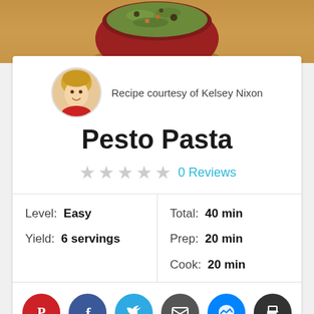[Figure (photo): Food photo of pesto pasta in a red bowl from above, on a wooden surface background]
Recipe courtesy of Kelsey Nixon
Pesto Pasta
★★★★★ 0 Reviews
Level: Easy
Yield: 6 servings
Total: 40 min
Prep: 20 min
Cook: 20 min
[Figure (other): Social share buttons: Pinterest, Facebook, Twitter, Email, Messenger, Print]